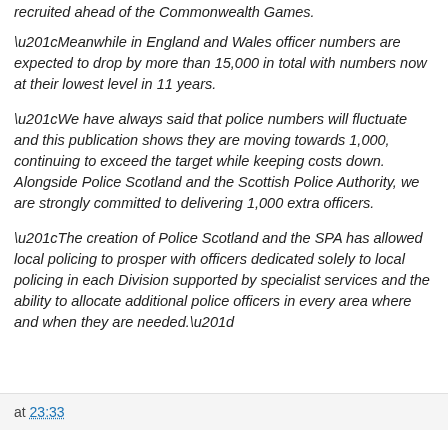recruited ahead of the Commonwealth Games.
“Meanwhile in England and Wales officer numbers are expected to drop by more than 15,000 in total with numbers now at their lowest level in 11 years.
“We have always said that police numbers will fluctuate and this publication shows they are moving towards 1,000, continuing to exceed the target while keeping costs down. Alongside Police Scotland and the Scottish Police Authority, we are strongly committed to delivering 1,000 extra officers.
“The creation of Police Scotland and the SPA has allowed local policing to prosper with officers dedicated solely to local policing in each Division supported by specialist services and the ability to allocate additional police officers in every area where and when they are needed.”
at 23:33